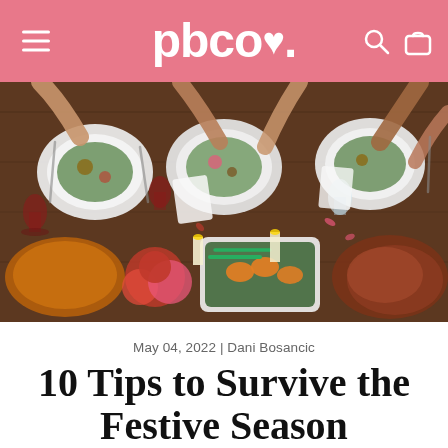pbco.
[Figure (photo): Overhead view of a festive dinner table with multiple plates of salad and roasted vegetables, wine glasses, candles, and floral decorations, with several people's hands visible reaching for food.]
May 04, 2022 | Dani Bosancic
10 Tips to Survive the Festive Season